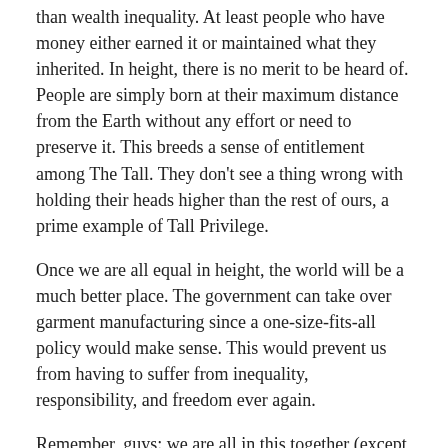than wealth inequality. At least people who have money either earned it or maintained what they inherited. In height, there is no merit to be heard of. People are simply born at their maximum distance from the Earth without any effort or need to preserve it. This breeds a sense of entitlement among The Tall. They don't see a thing wrong with holding their heads higher than the rest of ours, a prime example of Tall Privilege.
Once we are all equal in height, the world will be a much better place. The government can take over garment manufacturing since a one-size-fits-all policy would make sense. This would prevent us from having to suffer from inequality, responsibility, and freedom ever again.
Remember, guys: we are all in this together (except The Tall who must be forced to pay their fair share in inches). Let's #FeelTheBern as one and eradicate Height Inequality once and for all!
SHARE THIS: